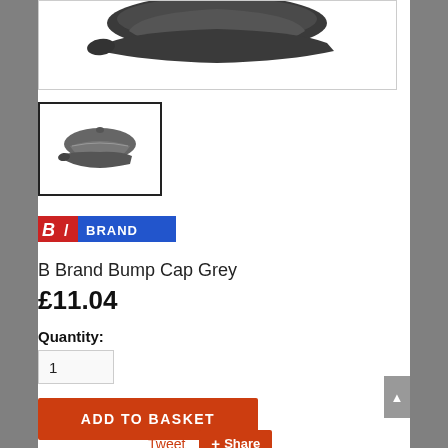[Figure (photo): Top portion of a grey bump cap product photo against white background]
[Figure (photo): Thumbnail image of a grey bump cap, shown in a black-bordered box]
[Figure (logo): B Brand logo: red stylized B with blue BRAND text]
B Brand Bump Cap Grey
£11.04
Quantity:
1
ADD TO BASKET
Tweet
Share